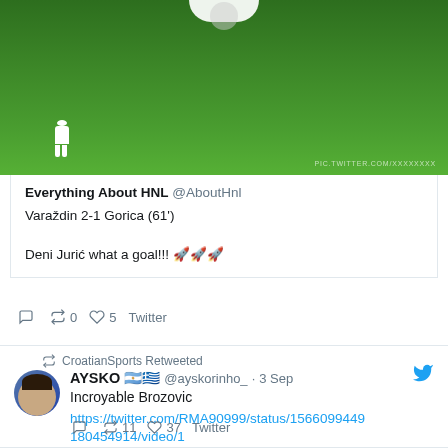[Figure (screenshot): Soccer field screenshot with player figure, partial team logo at top, watermark text at bottom right]
Everything About HNL @AboutHnl
Varaždin 2-1 Gorica (61')

Deni Jurić what a goal!!! 🚀🚀🚀
🗨 ↩0  ♡ 5  Twitter
CroatianSports Retweeted
AYSKO 🇦🇷🇬🇷 @ayskorinho_  ·  3 Sep
Incroyable Brozovic
https://twitter.com/RMA90999/status/1566099449180454914/video/1
🗨 ↩ 11  ♡ 37  Twitter
CroatianSports @CroatianSoccer  ·  3 Sep